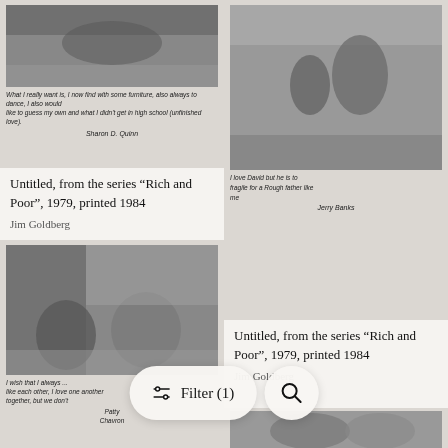[Figure (photo): Black and white photograph with handwritten text below: 'What I really want is... I now find with some furniture, also always to dance, I also would like to guess my own and what I didn't get in high school (unfinished love). Sharon D. Quinn']
[Figure (photo): Black and white photograph of a man with children in a room, with handwritten text below: 'I love David but he is to fragile for a rough father like me. Jerry Banks']
Untitled, from the series “Rich and Poor”, 1979, printed 1984
Jim Goldberg
Untitled, from the series “Rich and Poor”, 1979, printed 1984
Jim Goldberg
[Figure (photo): Black and white photograph of a woman with child, with handwritten text: 'I wish that I always ... like each other, I love one another together, but we don't. Patty Chavron']
[Figure (photo): Partial black and white photograph visible at bottom right]